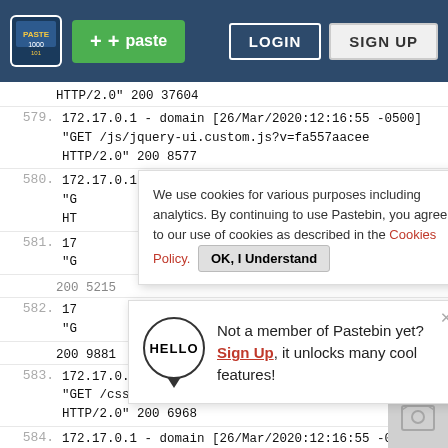Pastebin navigation bar with logo, paste button, LOGIN and SIGN UP
HTTP/2.0" 200 37604
579. 172.17.0.1 - domain [26/Mar/2020:12:16:55 -0500] "GET /js/jquery-ui.custom.js?v=fa557aacee HTTP/2.0" 200 8577
580. 172.17.0.1 - domain [26/Mar/2020:12:16:55 -0500] "G HT 17 "G 200 5215
We use cookies for various purposes including analytics. By continuing to use Pastebin, you agree to our use of cookies as described in the Cookies Policy. OK, I Understand
581. 17 "G 200 5215
582. 17 "G 200 9881 Not a member of Pastebin yet? Sign Up, it unlocks many cool features!
583. 172.17.0.1 - domain [26/Mar/2020:12:16:55 -0500] "GET /css/font-awesome.min.css?v=fa557aacee HTTP/2.0" 200 6968
584. 172.17.0.1 - domain [26/Mar/2020:12:16:55 -0500]